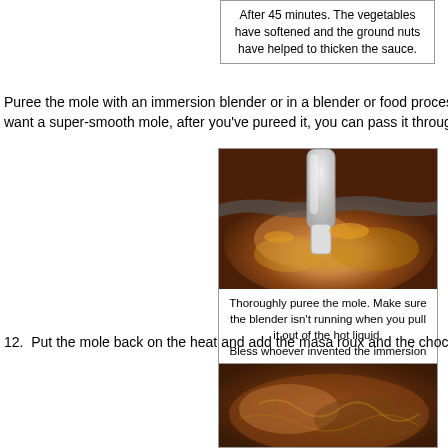After 45 minutes. The vegetables have softened and the ground nuts have helped to thicken the sauce.
Puree the mole with an immersion blender or in a blender or food processor. If you want a super-smooth mole, after you've pureed it, you can pass it through a st...
[Figure (photo): An immersion blender being used to puree a brown mole sauce in a pot, showing the thick liquid being blended.]
Thoroughly puree the mole. Make sure the blender isn't running when you pull it out of the hot liquid. Bless whoever invented the immersion blender.
12.  Put the mole back on the heat and add the masa roux and the chocolate.
[Figure (photo): A close-up photo of dark brown mole sauce in a pot.]